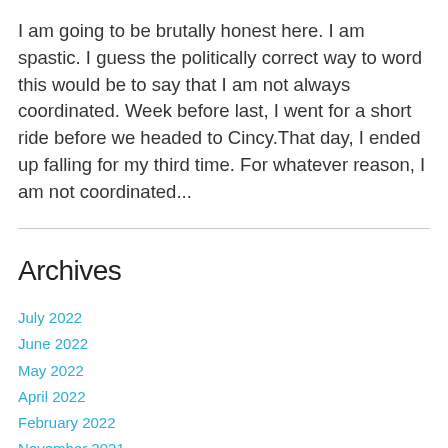I am going to be brutally honest here. I am spastic. I guess the politically correct way to word this would be to say that I am not always coordinated. Week before last, I went for a short ride before we headed to Cincy.That day, I ended up falling for my third time. For whatever reason, I am not coordinated...
Archives
July 2022
June 2022
May 2022
April 2022
February 2022
November 2021
September 2021
August 2021